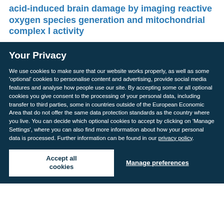acid-induced brain damage by imaging reactive oxygen species generation and mitochondrial complex I activity
Your Privacy
We use cookies to make sure that our website works properly, as well as some 'optional' cookies to personalise content and advertising, provide social media features and analyse how people use our site. By accepting some or all optional cookies you give consent to the processing of your personal data, including transfer to third parties, some in countries outside of the European Economic Area that do not offer the same data protection standards as the country where you live. You can decide which optional cookies to accept by clicking on 'Manage Settings', where you can also find more information about how your personal data is processed. Further information can be found in our privacy policy.
Accept all cookies
Manage preferences